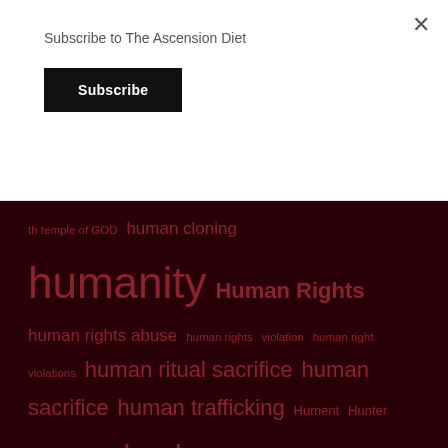Subscribe to The Ascension Diet
Subscribe
th temple of GOD human cloning humanity Human Rights human rights abuse human rights violation human right violations human ritual sacrifice human sacrifice human trafficking Hument Hunter Biden hurricane hush puppy hybridization Hydra vulgaris hydrogen hypercommunication iatrogenocide identity idols idol worship Illuminati illuminati cult illusion I LOVE YOU imminence imminent immunity Imperial Cult in bonds incense India infanticide infinite inflammation INFLUENCE information injection INTENTION